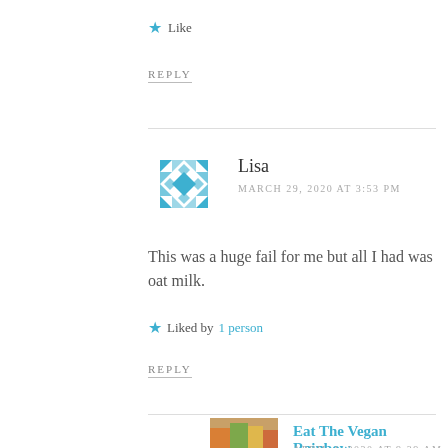★ Like
REPLY
Lisa
MARCH 29, 2020 AT 3:53 PM
This was a huge fail for me but all I had was oat milk.
★ Liked by 1 person
REPLY
Eat The Vegan Rainbow
APRIL 4, 2020 AT 9:39 AM